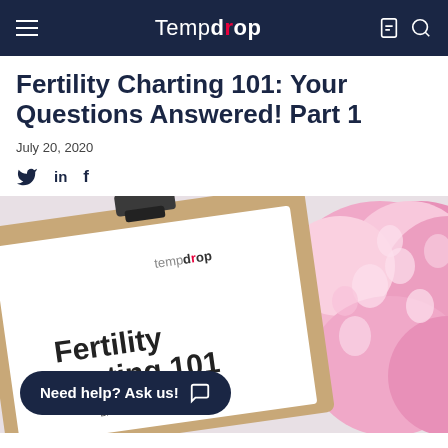Tempdrop
Fertility Charting 101: Your Questions Answered! Part 1
July 20, 2020
[Figure (photo): A clipboard with a 'Fertility Charting 101' document by Baudet, with a pink hydrangea flower beside it on a white background. The clipboard has the Tempdrop logo on the document.]